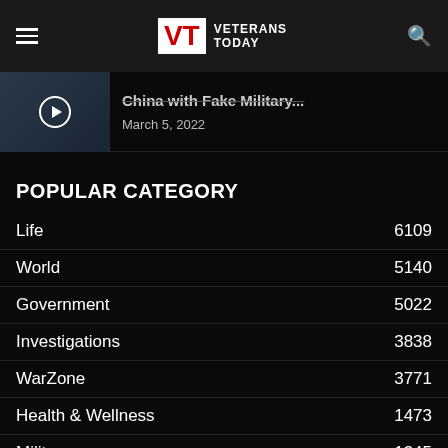Veterans Today
China with Fake Military... March 5, 2022
POPULAR CATEGORY
Life 6109
World 5140
Government 5022
Investigations 3838
WarZone 3771
Health & Wellness 1473
Military 1345
History 1195
Ukraine War 1094